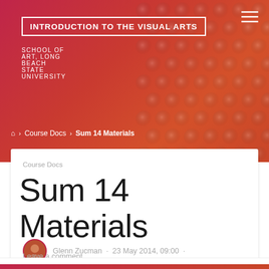INTRODUCTION TO THE VISUAL ARTS
SCHOOL OF ART, LONG BEACH STATE UNIVERSITY
⌂ › Course Docs › Sum 14 Materials
Course Docs
Sum 14 Materials
Glenn Zucman · 23 May 2014, 09:00 · Leave a comment